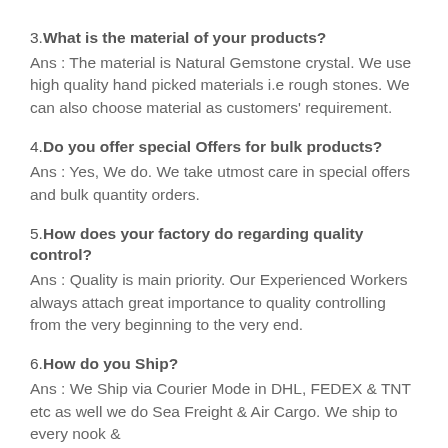3.What is the material of your products?
Ans : The material is Natural Gemstone crystal. We use high quality hand picked materials i.e rough stones. We can also choose material as customers' requirement.
4.Do you offer special Offers for bulk products?
Ans : Yes, We do. We take utmost care in special offers and bulk quantity orders.
5.How does your factory do regarding quality control?
Ans : Quality is main priority. Our Experienced Workers always attach great importance to quality controlling from the very beginning to the very end.
6.How do you Ship?
Ans : We Ship via Courier Mode in DHL, FEDEX & TNT etc as well we do Sea Freight & Air Cargo. We ship to every nook &